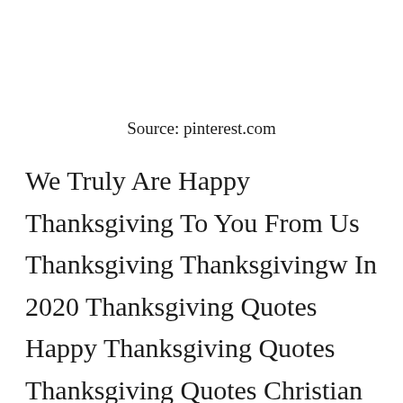Source: pinterest.com
We Truly Are Happy Thanksgiving To You From Us Thanksgiving Thanksgivingw In 2020 Thanksgiving Quotes Happy Thanksgiving Quotes Thanksgiving Quotes Christian The best Thanksgiving outfit involves a pair of stretchy pants. Roast assured tonights Thanksgiving meal is going to be one of the best ⓧeve ever had.